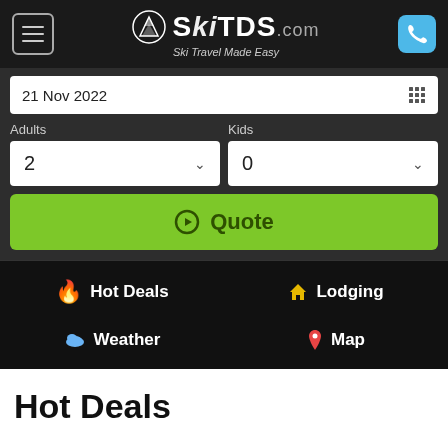SkiTDS.com — Ski Travel Made Easy
21 Nov 2022
Adults: 2, Kids: 0
⊕ Quote
🔥 Hot Deals  🏠 Lodging  ☁ Weather  📍 Map
Hot Deals